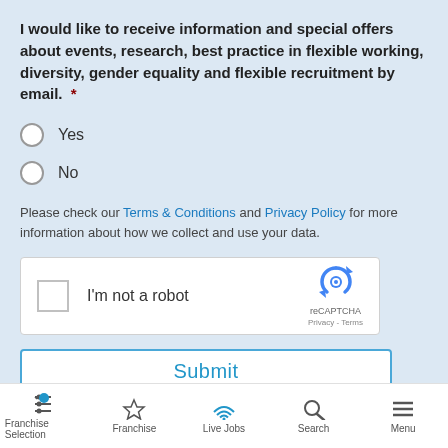I would like to receive information and special offers about events, research, best practice in flexible working, diversity, gender equality and flexible recruitment by email.  *
Yes
No
Please check our Terms & Conditions and Privacy Policy for more information about how we collect and use your data.
[Figure (other): reCAPTCHA widget with checkbox labeled I'm not a robot, reCAPTCHA logo with Privacy and Terms links]
Submit
Franchise Selection | Franchise | Live Jobs | Search | Menu